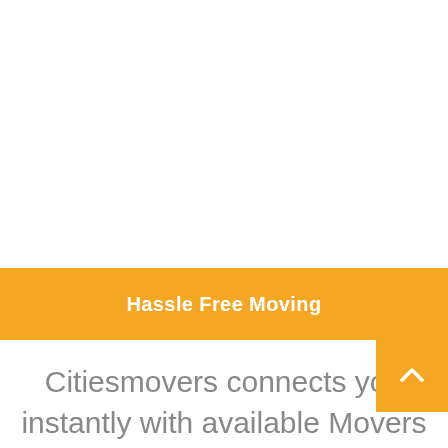[Figure (other): White empty space at top of page]
Hassle Free Moving
Citiesmovers connects you instantly with available Movers for transport your items locally or interstate. Get started below: